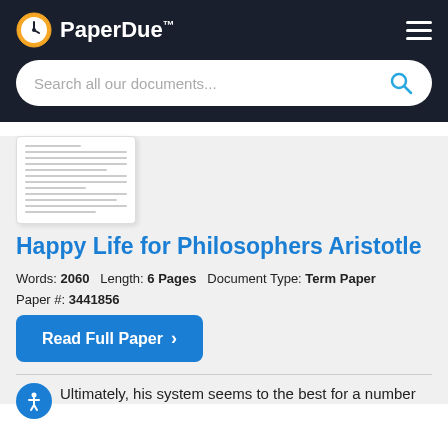PaperDue™
[Figure (screenshot): Search bar with placeholder text 'Search all our documents...' and a blue search icon on a dark background header]
[Figure (other): Thumbnail preview of a document page]
Happy Life for Philosophers Aristotle
Words: 2060   Length: 6 Pages   Document Type: Term Paper
Paper #: 3441856
Read Full Paper ›
Ultimately, his system seems to the best for a number